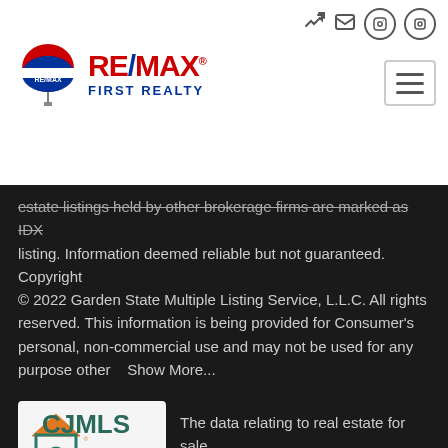[Figure (logo): RE/MAX First Realty logo with balloon icon and red/blue text]
estate listings held by other brokerage firms are marked as IDX listing. Information deemed reliable but not guaranteed. Copyright © 2022 Garden State Multiple Listing Service, L.L.C. All rights reserved. This information is being provided for Consumer's personal, non-commercial use and may not be used for any purpose other    Show More...
[Figure (logo): CJMLS Central Jersey Multiple Listing System logo]
The data relating to real estate for sale on this web-site comes in part from the Internet Listing Display database of the CENTRAL JERSEY MULTIPLE LISTING SYSTEM, ate listings held by brokerage firms other than this site owner are marked with the ILD logo. The CENTRAL JERSEY